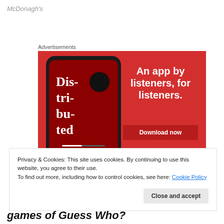McDonagh's
Advertisements
[Figure (photo): Advertisement banner with a red background showing a smartphone displaying a podcast app with text 'Dis-tri-bu-ted' and the tagline 'An app by listeners, for listeners.' with a 'Download now' button.]
Privacy & Cookies: This site uses cookies. By continuing to use this website, you agree to their use.
To find out more, including how to control cookies, see here: Cookie Policy
Close and accept
games of Guess Who?